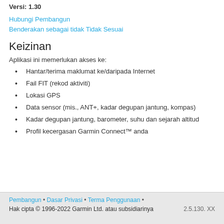Versi: 1.30
Hubungi Pembangun
Benderakan sebagai tidak Tidak Sesuai
Keizinan
Aplikasi ini memerlukan akses ke:
Hantar/terima maklumat ke/daripada Internet
Fail FIT (rekod aktiviti)
Lokasi GPS
Data sensor (mis., ANT+, kadar degupan jantung, kompas)
Kadar degupan jantung, barometer, suhu dan sejarah altitud
Profil kecergasan Garmin Connect™ anda
Pembangun • Dasar Privasi • Terma Penggunaan •
Hak cipta © 1996-2022 Garmin Ltd. atau subsidiarinya
2.5.130. XX